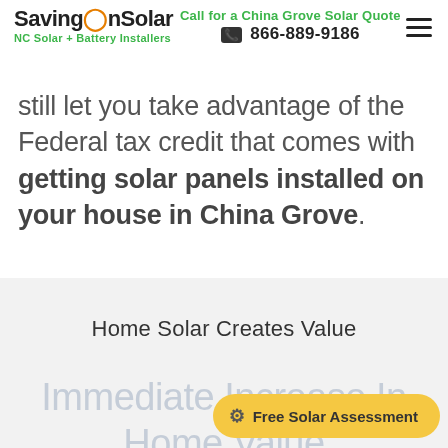SavingOnSolar — Call for a China Grove Solar Quote 866-889-9186 — NC Solar + Battery Installers
still let you take advantage of the Federal tax credit that comes with getting solar panels installed on your house in China Grove.
Home Solar Creates Value
Immediate Increase In Home Value